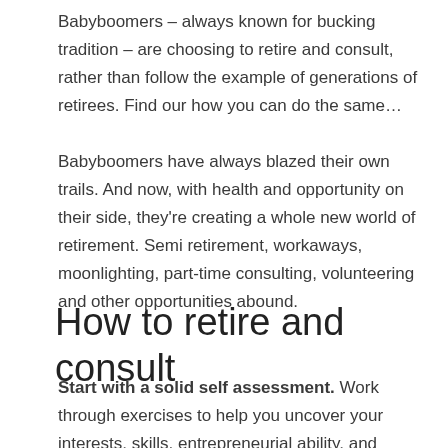Babyboomers – always known for bucking tradition – are choosing to retire and consult, rather than follow the example of generations of retirees. Find our how you can do the same…
Babyboomers have always blazed their own trails. And now, with health and opportunity on their side, they're creating a whole new world of retirement. Semi retirement, workaways, moonlighting, part-time consulting, volunteering and other opportunities abound.
How to retire and consult
Start with a solid self assessment. Work through exercises to help you uncover your interests, skills, entrepreneurial ability, and personal circumstances.